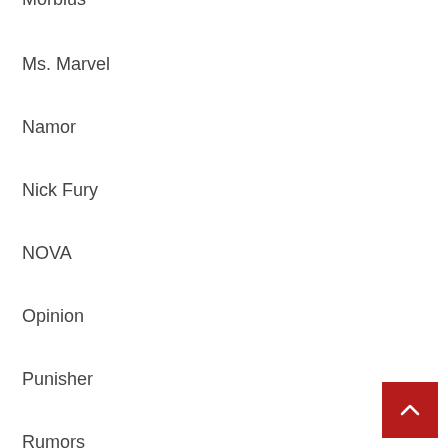Morbius
Ms. Marvel
Namor
Nick Fury
NOVA
Opinion
Punisher
Rumors
Secret Invasion
Secret Warriors
Shang-Chi
She-Hulk
Spider-Man
Thanos